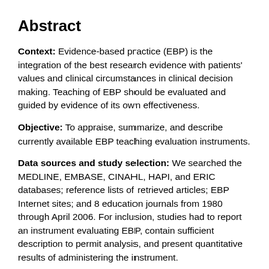Abstract
Context: Evidence-based practice (EBP) is the integration of the best research evidence with patients' values and clinical circumstances in clinical decision making. Teaching of EBP should be evaluated and guided by evidence of its own effectiveness.
Objective: To appraise, summarize, and describe currently available EBP teaching evaluation instruments.
Data sources and study selection: We searched the MEDLINE, EMBASE, CINAHL, HAPI, and ERIC databases; reference lists of retrieved articles; EBP Internet sites; and 8 education journals from 1980 through April 2006. For inclusion, studies had to report an instrument evaluating EBP, contain sufficient description to permit analysis, and present quantitative results of administering the instrument.